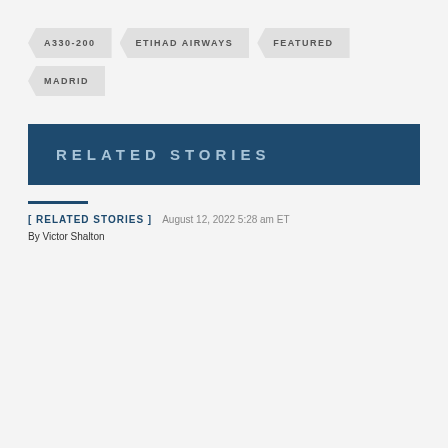A330-200
ETIHAD AIRWAYS
FEATURED
MADRID
RELATED STORIES
[ RELATED STORIES ]   August 12, 2022 5:28 am ET
By Victor Shalton